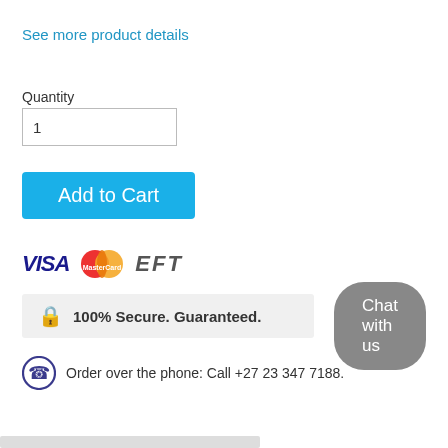See more product details
Quantity
1
Add to Cart
[Figure (logo): Payment method logos: VISA, MasterCard, EFT]
100% Secure. Guaranteed.
Order over the phone: Call +27 23 347 7188.
Chat with us